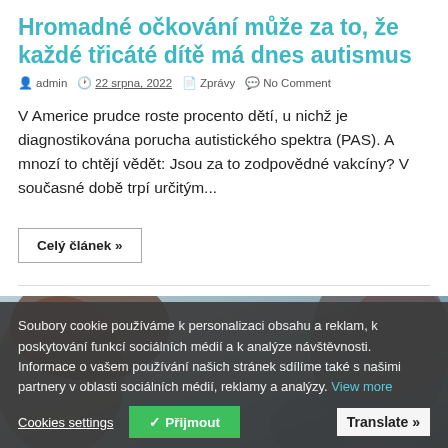Hromadné očkování může za to, že každé třicáté dítě má dnes autismus
admin  22 srpna, 2022  Zprávy  No Comment
V Americe prudce roste procento dětí, u nichž je diagnostikována porucha autistického spektra (PAS). A mnozí to chtějí vědět: Jsou za to zodpovědné vakcíny? V současné době trpí určitým...
Celý článek »
[Figure (photo): Background photo of a person with medical/vaccine related content, partially visible]
Soubory cookie používáme k personalizaci obsahu a reklam, k poskytování funkcí sociálních médií a k analýze návštěvnosti. Informace o vašem používání našich stránek sdílíme také s našimi partnery v oblasti sociálních médií, reklamy a analýzy. View more
Cookies settings  ✓ Přijmout  Translate »